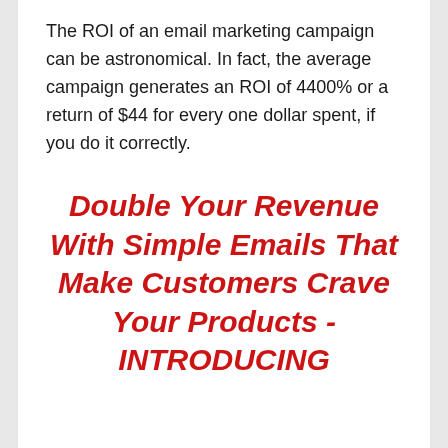The ROI of an email marketing campaign can be astronomical. In fact, the average campaign generates an ROI of 4400% or a return of $44 for every one dollar spent, if you do it correctly.
Double Your Revenue With Simple Emails That Make Customers Crave Your Products - INTRODUCING